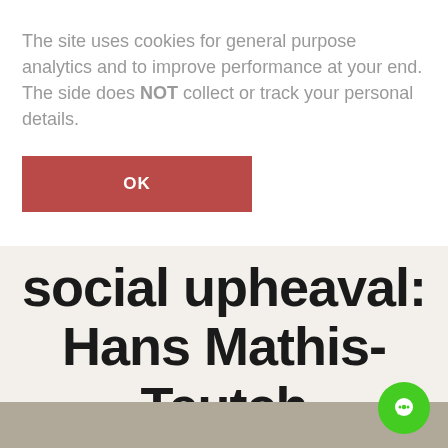The site uses cookies for general purpose analytics and to improve performance at your end. The side does NOT collect or track your personal details.
OK
social upheaval: Hans Mathis-Teutch